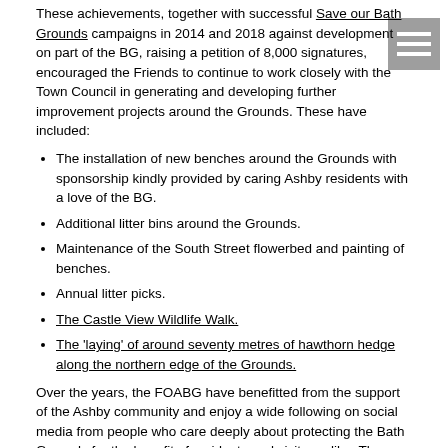These achievements, together with successful Save our Bath Grounds campaigns in 2014 and 2018 against development on part of the BG, raising a petition of 8,000 signatures, encouraged the Friends to continue to work closely with the Town Council in generating and developing further improvement projects around the Grounds. These have included:
The installation of new benches around the Grounds with sponsorship kindly provided by caring Ashby residents with a love of the BG.
Additional litter bins around the Grounds.
Maintenance of the South Street flowerbed and painting of benches.
Annual litter picks.
The Castle View Wildlife Walk.
The 'laying' of around seventy metres of hawthorn hedge along the northern edge of the Grounds.
Over the years, the FOABG have benefitted from the support of the Ashby community and enjoy a wide following on social media from people who care deeply about protecting the Bath Grounds for the benefit of residents and visitors alike. The Friends' close relationship with the Town Council and other agencies has proved to be mutually beneficial and has led to many initiatives to reduce ASB and the incidence of dog mess, help prevent vehicles accessing the Grounds and generally helping to improve the overall environment and maintenance of the BG.